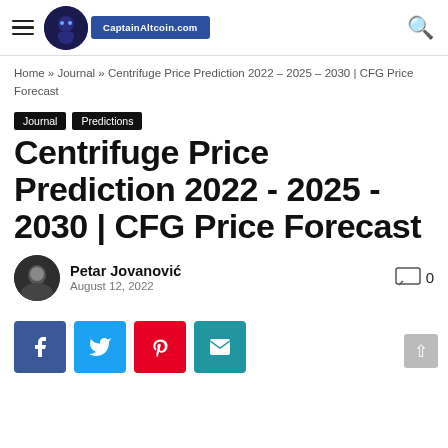CaptainAltcoin.com
Home » Journal » Centrifuge Price Prediction 2022 – 2025 – 2030 | CFG Price Forecast
Journal
Predictions
Centrifuge Price Prediction 2022 - 2025 - 2030 | CFG Price Forecast
Petar Jovanović
August 12, 2022
[Figure (infographic): Social share buttons: Facebook, Twitter, Pinterest, Email]